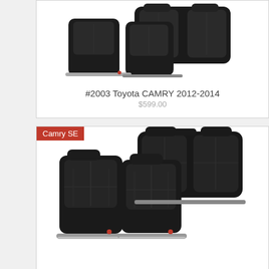[Figure (photo): Black leather car seat covers set for Toyota Camry 2012-2014, showing front and rear seats arranged on white background]
#2003 Toyota CAMRY 2012-2014
$599.00
[Figure (photo): Black leather car seat covers set labeled Camry SE, showing full set of front and rear seats with headrests on white background]
Camry SE